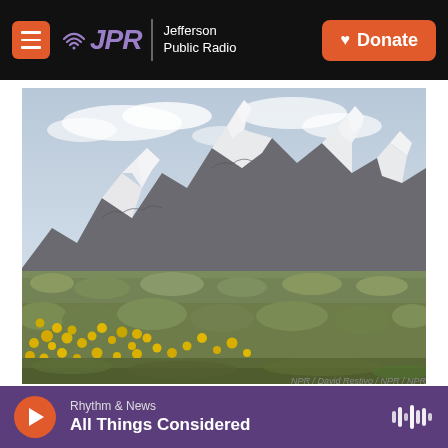JPR Jefferson Public Radio | Donate
[Figure (photo): Landscape photo of the Grand Teton mountain range with snow-capped peaks, rocky cliffs, green sagebrush scrubland, and yellow wildflowers in the foreground under a partly cloudy sky.]
NPR / David Restivo / NPR / NPR
Rhythm & News
All Things Considered